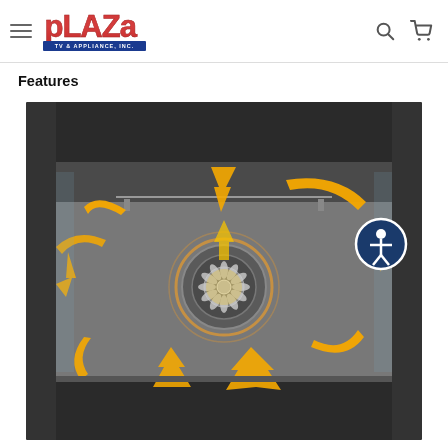Plaza TV & Appliance, Inc. — navigation header with logo, hamburger menu, search and cart icons
Features
[Figure (photo): Interior of a convection oven viewed from above, showing large orange airflow arrows circling around a central fan element, depicting how convection heat is distributed evenly throughout the oven cavity. An accessibility icon (blue circle with white human figure) appears in the upper right of the image.]